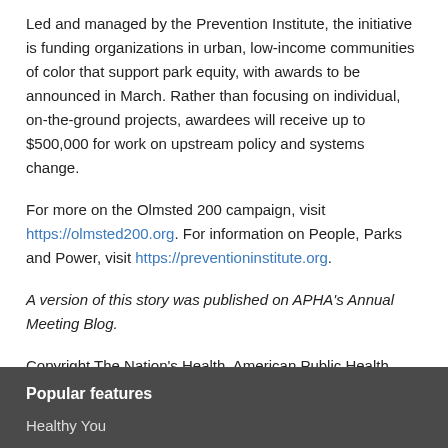Led and managed by the Prevention Institute, the initiative is funding organizations in urban, low-income communities of color that support park equity, with awards to be announced in March. Rather than focusing on individual, on-the-ground projects, awardees will receive up to $500,000 for work on upstream policy and systems change.
For more on the Olmsted 200 campaign, visit https://olmsted200.org. For information on People, Parks and Power, visit https://preventioninstitute.org.
A version of this story was published on APHA's Annual Meeting Blog.
Copyright The Nation's Health, American Public Health Association
Popular features
Healthy You